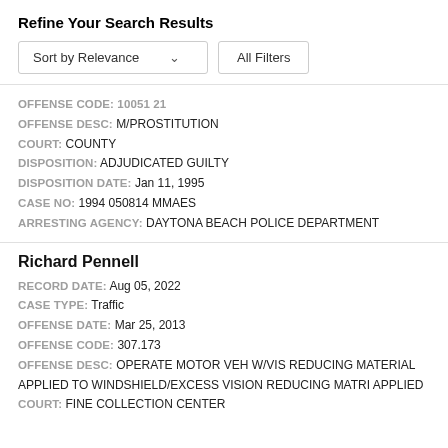Refine Your Search Results
Sort by Relevance   All Filters
OFFENSE CODE: 10051 21
OFFENSE DESC: M/PROSTITUTION
COURT: COUNTY
DISPOSITION: ADJUDICATED GUILTY
DISPOSITION DATE: Jan 11, 1995
CASE NO: 1994 050814 MMAES
ARRESTING AGENCY: DAYTONA BEACH POLICE DEPARTMENT
Richard Pennell
RECORD DATE: Aug 05, 2022
CASE TYPE: Traffic
OFFENSE DATE: Mar 25, 2013
OFFENSE CODE: 307.173
OFFENSE DESC: OPERATE MOTOR VEH W/VIS REDUCING MATERIAL APPLIED TO WINDSHIELD/EXCESS VISION REDUCING MATRI APPLIED
COURT: FINE COLLECTION CENTER